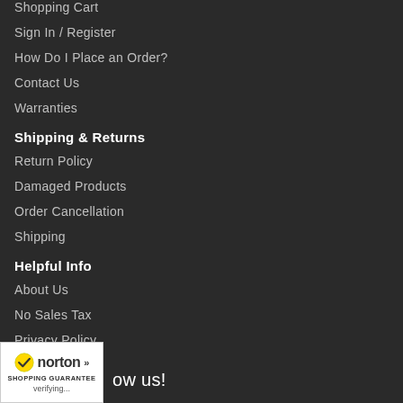Shopping Cart
Sign In / Register
How Do I Place an Order?
Contact Us
Warranties
Shipping & Returns
Return Policy
Damaged Products
Order Cancellation
Shipping
Helpful Info
About Us
No Sales Tax
Privacy Policy
Site Map
ow us!
[Figure (logo): Norton Shopping Guarantee badge with checkmark, displaying 'norton' text and 'SHOPPING GUARANTEE' subtext, with 'verifying...' text below]